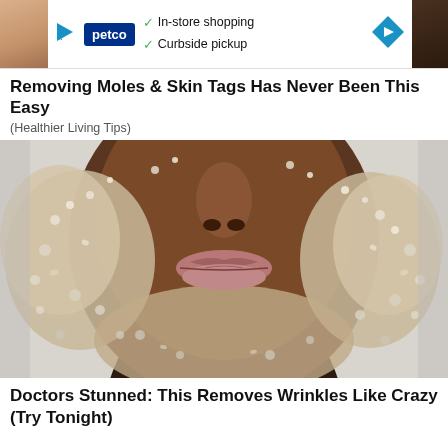[Figure (screenshot): Petco advertisement banner showing logo, checkmarks for In-store shopping and Curbside pickup, and a navigation arrow icon]
Removing Moles & Skin Tags Has Never Been This Easy
(Healthier Living Tips)
[Figure (photo): Close-up photo of a person's face covered in sugar or salt crystals/scrub, showing lips and nose area prominently]
Doctors Stunned: This Removes Wrinkles Like Crazy (Try Tonight)